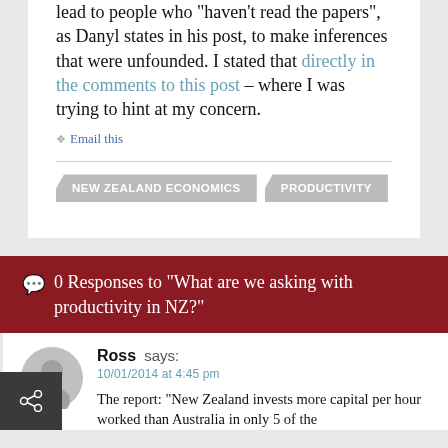lead to people who "haven't read the papers", as Danyl states in his post, to make inferences that were unfounded. I stated that directly in the comments to this post – where I was trying to hint at my concern.
❖ Email this
NEW ZEALAND ECONOMICS   PRODUCTIVITY
0 Responses to "What are we asking with productivity in NZ?"
Ross says:
10/01/2014 at 4:45 pm
The report: "New Zealand invests more capital per hour worked than Australia in only 5 of the